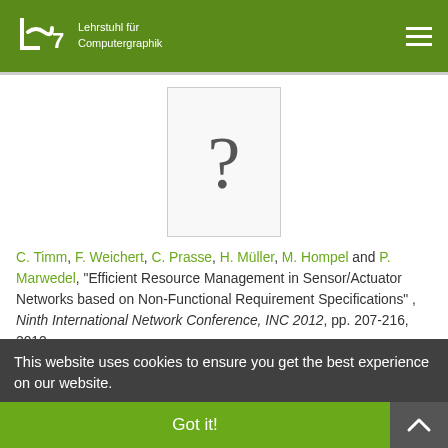ls7 Lehrstuhl für Computergraphik
[Figure (illustration): Placeholder image showing a question mark on a white card/paper background]
C. Timm, F. Weichert, C. Prasse, H. Müller, M. Hompel and P. Marwedel, "Efficient Resource Management in Sensor/Actuator Networks based on Non-Functional Requirement Specifications", Ninth International Network Conference, INC 2012, pp. 207-216, 2012.
This website uses cookies to ensure you get the best experience on our website.
Got it!